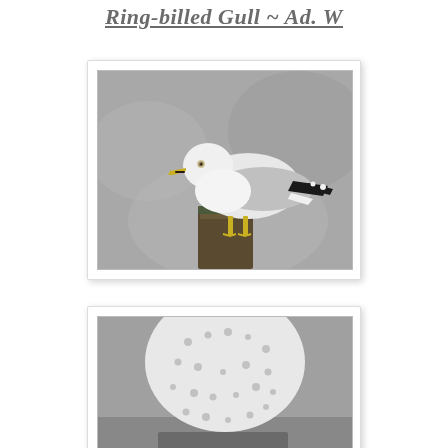Ring-billed Gull ~ Ad. W
[Figure (photo): Ring-billed Gull adult winter plumage, standing on a wooden post, side profile view, grey background]
[Figure (photo): Bird with white speckled head/body, partially cropped, grey background]